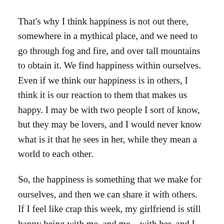That's why I think happiness is not out there, somewhere in a mythical place, and we need to go through fog and fire, and over tall mountains to obtain it. We find happiness within ourselves. Even if we think our happiness is in others, I think it is our reaction to them that makes us happy. I may be with two people I sort of know, but they may be lovers, and I would never know what is it that he sees in her, while they mean a world to each other.
So, the happiness is something that we make for ourselves, and then we can share it with others. If I feel like crap this week, my girlfriend is still happy being with me, and me – with her, and I can feed on that to get better, even though I didn't have it in me for a while. But if I am unhappy with myself overall, I will be looking for something positive, something magical, something to make me content, and I won't